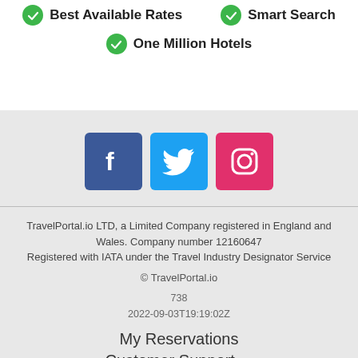Best Available Rates
Smart Search
One Million Hotels
[Figure (other): Social media icons: Facebook, Twitter, Instagram]
TravelPortal.io LTD, a Limited Company registered in England and Wales. Company number 12160647
Registered with IATA under the Travel Industry Designator Service
© TravelPortal.io
738
2022-09-03T19:19:02Z
My Reservations
Customer Support